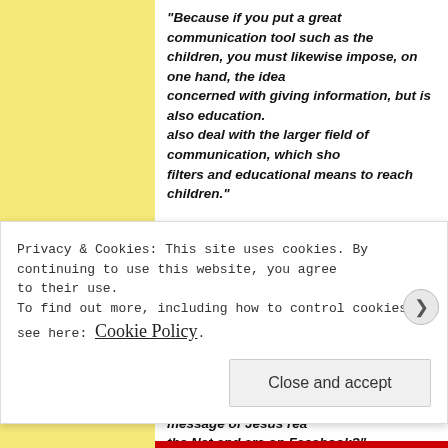"Because if you put a great communication tool such as the Internet in the hands of children, you must likewise impose, on one hand, the idea that this tool is not only concerned with giving information, but is also education. On the other hand, we must also deal with the larger field of communication, which should be able to use both filters and educational means to reach children."
So the question is: how to transform the Internet into an educational tool for communicating the Gospel to children "born in the digital age"?
Fr. Fortunato Di Noto: "Basically we have to discover once again how to reach children. So I ask myself: while we are speaking, the children are surfing, using the Net .. how can the message of Jesus reach those who use the Net and are on Facebook?"
Privacy & Cookies: This site uses cookies. By continuing to use this website, you agree to their use. To find out more, including how to control cookies, see here: Cookie Policy
Close and accept